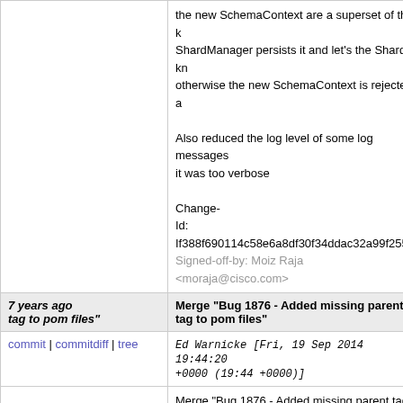the new SchemaContext are a superset of the k ShardManager persists it and let's the Shards kn otherwise the new SchemaContext is rejected a
Also reduced the log level of some log messages it was too verbose
Change-Id: If388f690114c58e6a8df30f34ddac32a99f255e Signed-off-by: Moiz Raja <moraja@cisco.com>
7 years ago tag to pom files"  Merge "Bug 1876 - Added missing parent tag to pom files"
commit | commitdiff | tree  Ed Warnicke [Fri, 19 Sep 2014 19:44:20 +0000 (19:44 +0000)]
Merge "Bug 1876 - Added missing parent tag to p
7 years ago karaf-xsql 75/11375/1  Bug 1963 - Fix bad dependency in sal-karaf-xsql
commit | commitdiff | tree  Devin Avery [Fri, 19 Sep 2014 17:16:14 +0000 (13:16 -0400)]
Bug 1963 - Fix bad dependency in sal-karaf-xsql

Change-